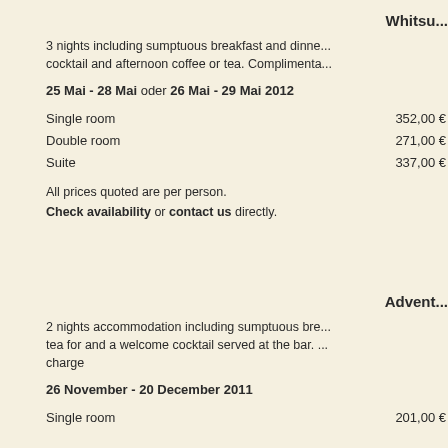Whitsu...
3 nights including sumptuous breakfast and dinne... cocktail and afternoon coffee or tea. Complimenta...
25 Mai - 28 Mai oder 26 Mai - 29 Mai 2012
| Single room | 352,00 € |
| Double room | 271,00 € |
| Suite | 337,00 € |
All prices quoted are per person.
Check availability or contact us directly.
Advent...
2 nights accommodation including sumptuous bre... tea for and a welcome cocktail served at the bar. ... charge
26 November - 20 December 2011
| Single room | 201,00 € |